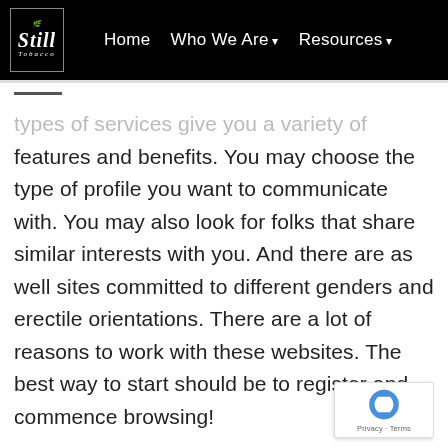Home  Who We Are  Resources
types of services give you a variety of features and benefits. You may choose the type of profile you want to communicate with. You may also look for folks that share similar interests with you. And there are as well sites committed to different genders and erectile orientations. There are a lot of reasons to work with these websites. The best way to start should be to register and commence browsing!